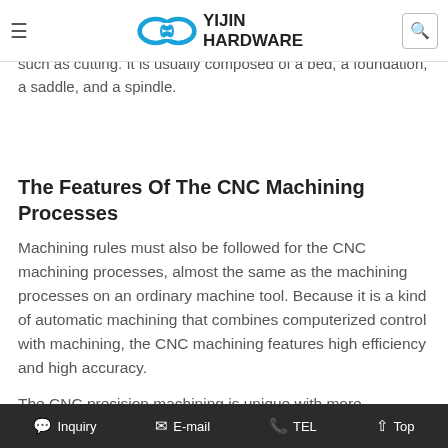Yijin Hardware — navigation bar with hamburger menu, logo, and search icon
The machine tool body, as the substantial part of a CNC machine tool, organizes and performs actions in machining such as cutting. It is usually composed of a bed, a foundation, a saddle, and a spindle.
The Features Of The CNC Machining Processes
Machining rules must also be followed for the CNC machining processes, almost the same as the machining processes on an ordinary machine tool. Because it is a kind of automatic machining that combines computerized control with machining, the CNC machining features high efficiency and high accuracy.
The CNC precision machining is unique with more complicated procedures and more detailed step arrangements.
Inquiry  E-mail  TEL  Top